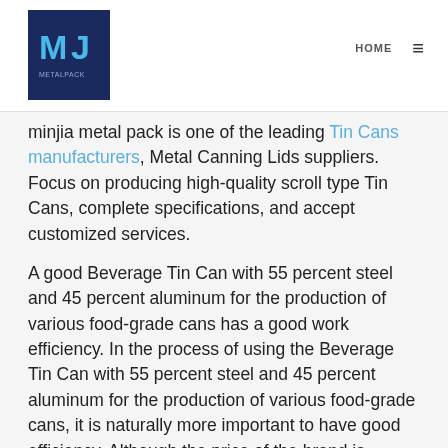MJ | HOME ☰
minjia metal pack is one of the leading Tin Cans manufacturers, Metal Canning Lids suppliers. Focus on producing high-quality scroll type Tin Cans, complete specifications, and accept customized services.
A good Beverage Tin Can with 55 percent steel and 45 percent aluminum for the production of various food-grade cans has a good work efficiency. In the process of using the Beverage Tin Can with 55 percent steel and 45 percent aluminum for the production of various food-grade cans, it is naturally more important to have good efficiency. Although the price of the brand is higher, they are more efficient, which improves the cost-effectiveness of the product. Welcome to choose Canning lids manufacturers Minjia metal pack - a leading Beverage Tin Can with 55 percent steel and 45 percent aluminum for the production of various food-grade cans manufacturers, Metal Canning Lids suppliers.